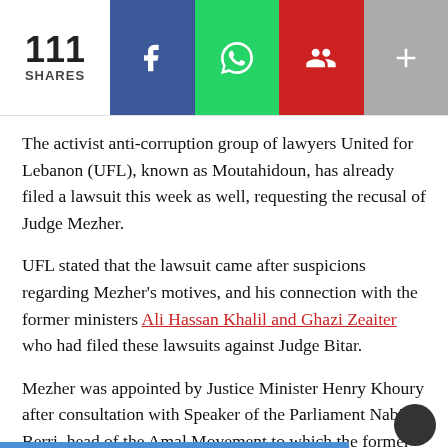[Figure (infographic): Share bar with count 111 SHARES and social media buttons: Facebook (blue), WhatsApp (green), Comments/people (red), More/plus (gray)]
The activist anti-corruption group of lawyers United for Lebanon (UFL), known as Moutahidoun, has already filed a lawsuit this week as well, requesting the recusal of Judge Mezher.
UFL stated that the lawsuit came after suspicions regarding Mezher's motives, and his connection with the former ministers Ali Hassan Khalil and Ghazi Zeaiter who had filed these lawsuits against Judge Bitar.
Mezher was appointed by Justice Minister Henry Khoury after consultation with Speaker of the Parliament Nabih Berri, head of the Amal Movement to which the former ministers in question belong.